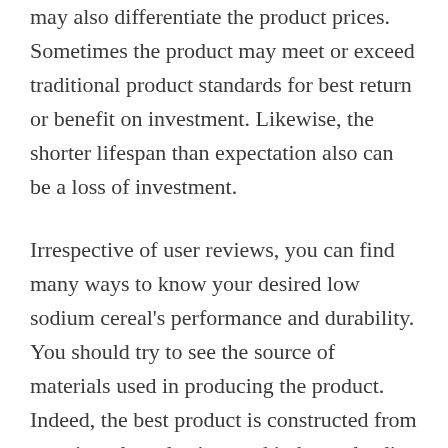may also differentiate the product prices. Sometimes the product may meet or exceed traditional product standards for best return or benefit on investment. Likewise, the shorter lifespan than expectation also can be a loss of investment.
Irrespective of user reviews, you can find many ways to know your desired low sodium cereal's performance and durability. You should try to see the source of materials used in producing the product. Indeed, the best product is constructed from premium, long-lasting, and industry-leading materials.
Warranty and After-sales Service: